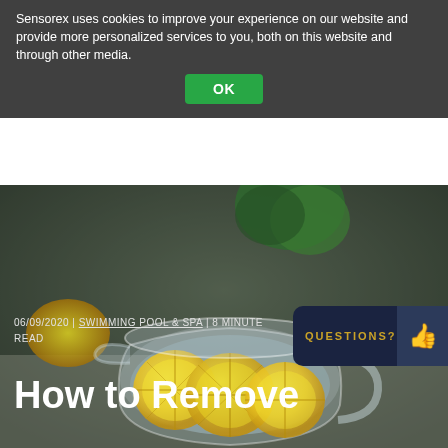Sensorex uses cookies to improve your experience on our website and provide more personalized services to you, both on this website and through other media.
OK
[Figure (photo): A glass pitcher filled with water and lemon slices, with lemons and green plant in the background, on a light surface. Dark-tinted overlay.]
06/09/2020 | SWIMMING POOL & SPA | 8 MINUTE READ
QUESTIONS?
How to Remove